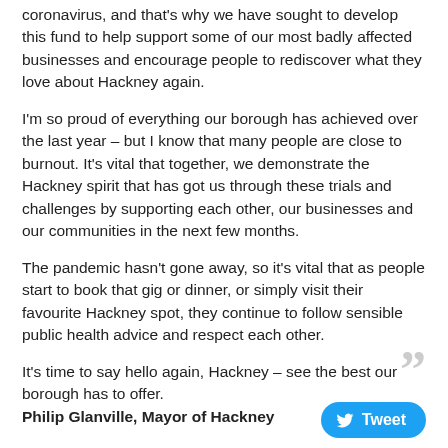coronavirus, and that's why we have sought to develop this fund to help support some of our most badly affected businesses and encourage people to rediscover what they love about Hackney again.
I'm so proud of everything our borough has achieved over the last year – but I know that many people are close to burnout. It's vital that together, we demonstrate the Hackney spirit that has got us through these trials and challenges by supporting each other, our businesses and our communities in the next few months.
The pandemic hasn't gone away, so it's vital that as people start to book that gig or dinner, or simply visit their favourite Hackney spot, they continue to follow sensible public health advice and respect each other.
It's time to say hello again, Hackney – see the best our borough has to offer.
Philip Glanville, Mayor of Hackney